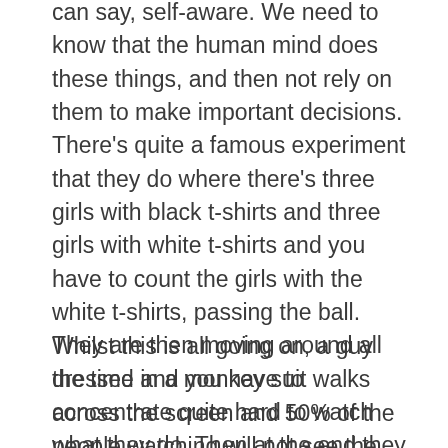can say, self-aware. We need to know that the human mind does these things, and then not rely on them to make important decisions. There's quite a famous experiment that they do where there's three girls with black t-shirts and three girls with white t-shirts and you have to count the girls with the white t-shirts, passing the ball. They are then moving around all the time and you have to concentrate quite hard to watch what they do. Then at the end they ask you how many times they passed the ball.
Whilst this is all going on, a guy dressed in a monkey suit walks across the screen and 50% of the people watching will not see the monkey